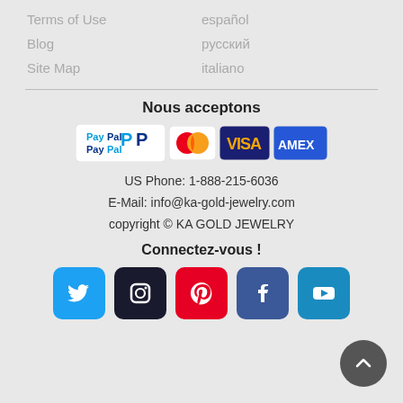Terms of Use
español
Blog
русский
Site Map
italiano
Nous acceptons
[Figure (logo): Payment method logos: PayPal, MasterCard, VISA, AMEX]
US Phone: 1-888-215-6036
E-Mail: info@ka-gold-jewelry.com
copyright © KA GOLD JEWELRY
Connectez-vous !
[Figure (logo): Social media icons: Twitter, Instagram, Pinterest, Facebook, YouTube]